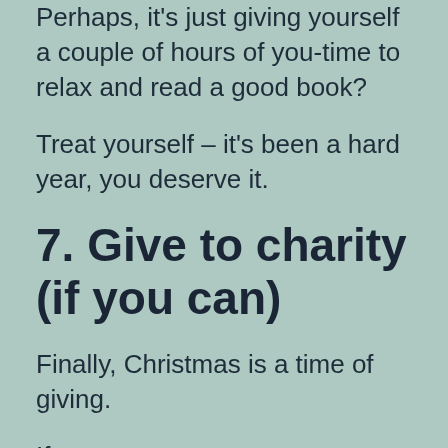Perhaps, it's just giving yourself a couple of hours of you-time to relax and read a good book?
Treat yourself – it's been a hard year, you deserve it.
7. Give to charity (if you can)
Finally, Christmas is a time of giving.
If you can spare any money to support some of the wonderful charities out there, it could make a huge difference to them – and to your own